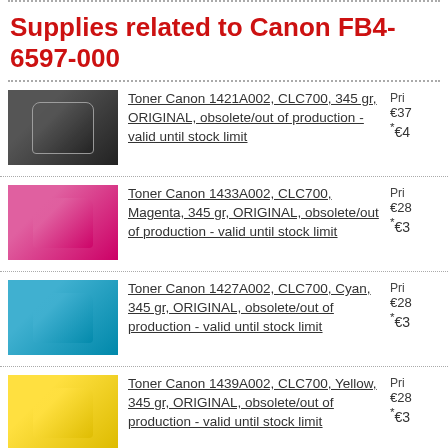Supplies related to Canon FB4-6597-000
Toner Canon 1421A002, CLC700, 345 gr, ORIGINAL, obsolete/out of production - valid until stock limit
Toner Canon 1433A002, CLC700, Magenta, 345 gr, ORIGINAL, obsolete/out of production - valid until stock limit
Toner Canon 1427A002, CLC700, Cyan, 345 gr, ORIGINAL, obsolete/out of production - valid until stock limit
Toner Canon 1439A002, CLC700, Yellow, 345 gr, ORIGINAL, obsolete/out of production - valid until stock limit
Toner Canon 1421A002, CLC700, Black, 345 gr, COMPATIBLE KATUN, obsolete/out of production - valid until stock limit
Toner Canon F42-0535-000, CLC1000, Yellow, max yield